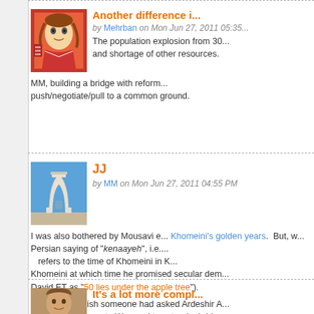[Figure (illustration): Avatar image of a stylized painting of a woman's face in orange/red tones]
Another difference i...
by Mehrban on Mon Jun 27, 2011 05:35...
The population explosion from 30... and shortage of other resources.
MM, building a bridge with reform... push/negotiate/pull to a common ground.
[Figure (photo): Photo of Azadi Tower in Tehran against blue sky]
JJ
by MM on Mon Jun 27, 2011 04:55 PM
I was also bothered by Mousavi e... Khomeini's golden years. But, w... Persian saying of "kenaayeh", i.e.... refers to the time of Khomeini in... Khomeini at which time he promised secular dem... David ET as "50 lies under the apple tree").
Personally, I wish someone had asked Ardeshir A... golden years meant. We need to extend a bridge... commonalities that bind us instead of being in this... condescension.
[Figure (photo): Avatar photo of a man]
It's a lot more compl...